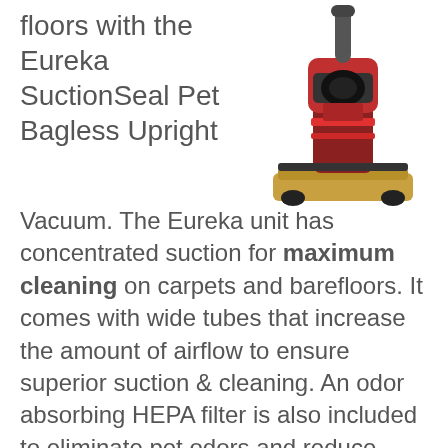floors with the Eureka SuctionSeal Pet Bagless Upright Vacuum. The Eureka unit has concentrated suction for maximum cleaning on carpets and barefloors. It comes with wide tubes that increase the amount of airflow to ensure superior suction & cleaning. An odor absorbing HEPA filter is also included to eliminate pet odors and reduce allergens for a cleaner home.
[Figure (photo): Photo of a Eureka SuctionSeal Pet Bagless Upright Vacuum cleaner, red and dark grey/black color, shown from the front.]